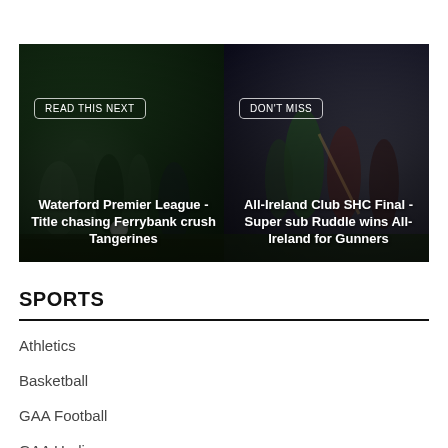[Figure (photo): Two side-by-side sports photos. Left: soccer match with players in green/dark kit, overlaid with 'READ THIS NEXT' badge and headline 'Waterford Premier League - Title chasing Ferrybank crush Tangerines'. Right: hurling match with players in green and red, overlaid with 'DON'T MISS' badge and headline 'All-Ireland Club SHC Final - Super sub Ruddle wins All-Ireland for Gunners'.]
SPORTS
Athletics
Basketball
GAA Football
GAA Hurling